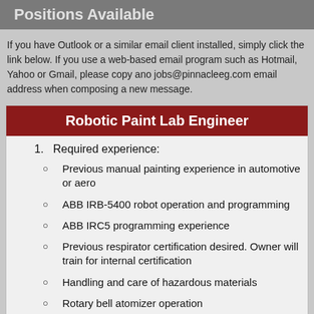Positions Available
If you have Outlook or a similar email client installed, simply click the link below. If you use a web-based email program such as Hotmail, Yahoo or Gmail, please copy and paste the jobs@pinnacleeg.com email address when composing a new message.
Robotic Paint Lab Engineer
Required experience:
Previous manual painting experience in automotive or aero
ABB IRB-5400 robot operation and programming
ABB IRC5 programming experience
Previous respirator certification desired. Owner will train for internal certification
Handling and care of hazardous materials
Rotary bell atomizer operation
HVLP atomizer operation
Mixing of 2K or 3K paints
Paint robot, atomizer, and pressure pot cleaning
Microsoft word, outlook, and excel proficiency
ABB robot studio and shop floor editor